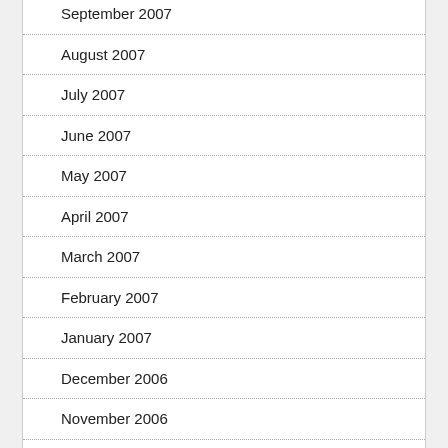September 2007
August 2007
July 2007
June 2007
May 2007
April 2007
March 2007
February 2007
January 2007
December 2006
November 2006
October 2006
September 2006